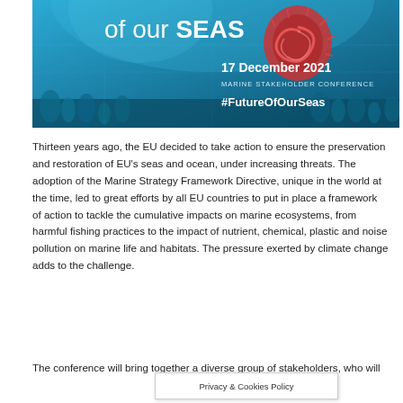[Figure (photo): Marine conference banner with underwater coral/seahorse imagery. Text reads 'of our SEAS', '17 December 2021', 'MARINE STAKEHOLDER CONFERENCE', '#FutureOfOurSeas']
Thirteen years ago, the EU decided to take action to ensure the preservation and restoration of EU's seas and ocean, under increasing threats. The adoption of the Marine Strategy Framework Directive, unique in the world at the time, led to great efforts by all EU countries to put in place a framework of action to tackle the cumulative impacts on marine ecosystems, from harmful fishing practices to the impact of nutrient, chemical, plastic and noise pollution on marine life and habitats. The pressure exerted by climate change adds to the challenge.
The conference will bring together a diverse group of stakeholders, who will...
Privacy & Cookies Policy